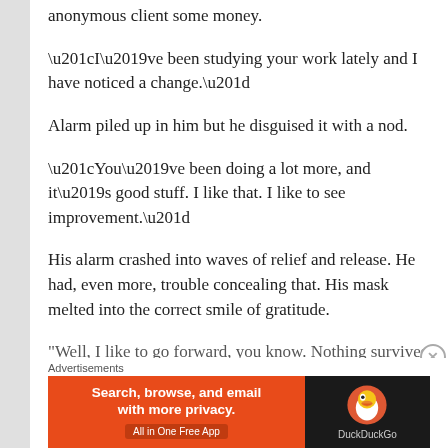anonymous client some money.
“I’ve been studying your work lately and I have noticed a change.”
Alarm piled up in him but he disguised it with a nod.
“You’ve been doing a lot more, and it’s good stuff. I like that. I like to see improvement.”
His alarm crashed into waves of relief and release. He had, even more, trouble concealing that. His mask melted into the correct smile of gratitude.
“Well, I like to go forward, you know. Nothing survives
Advertisements
[Figure (other): DuckDuckGo advertisement banner: orange left panel with text 'Search, browse, and email with more privacy. All in One Free App' and dark right panel with DuckDuckGo duck logo and brand name.]